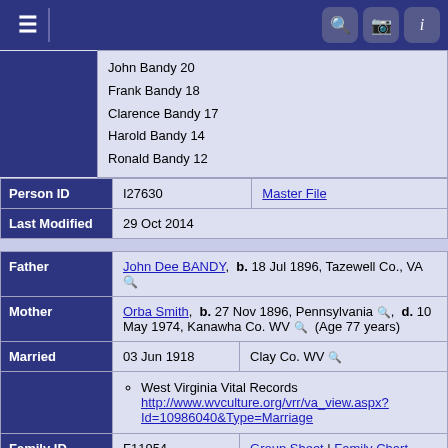Navigation bar with menu, search, camera, and info icons
John Bandy 20
Frank Bandy 18
Clarence Bandy 17
Harold Bandy 14
Ronald Bandy 12
| Person ID | I27630 | Master File |
| --- | --- | --- |
| Last Modified | 29 Oct 2014 |
| --- | --- |
| Father | John Dee BANDY, b. 18 Jul 1896, Tazewell Co., VA |
| --- | --- |
| Mother | Orba Smith, b. 27 Nov 1896, Pennsylvania, d. 10 May 1974, Kanawha Co. WV (Age 77 years) |
| --- | --- |
| Married | 03 Jun 1918 | Clay Co. WV |
| --- | --- | --- |
|  | West Virginia Vital Records http://www.wvculture.org/vrr/va_view.aspx?Id=10986040&Type=Marriage |  |
| Family ID | F11954 | Group Sheet | Family Chart |
| --- | --- | --- |
Switch to standard site